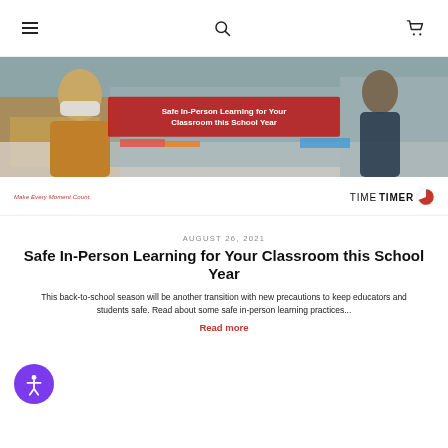Navigation bar with hamburger menu, search icon, and cart icon
[Figure (photo): Classroom scene with students wearing masks, sitting at desks, with a red overlay banner reading 'Safe In-Person Learning for Your Classroom this School Year']
[Figure (logo): Time Timer logo with tagline 'Make Every Moment Count' on the left and TIME TIMER text with red flame icon on the right]
AUGUST 26, 2021
Safe In-Person Learning for Your Classroom this School Year
This back-to-school season will be another transition with new precautions to keep educators and students safe. Read about some safe in-person learning practices...
Read more